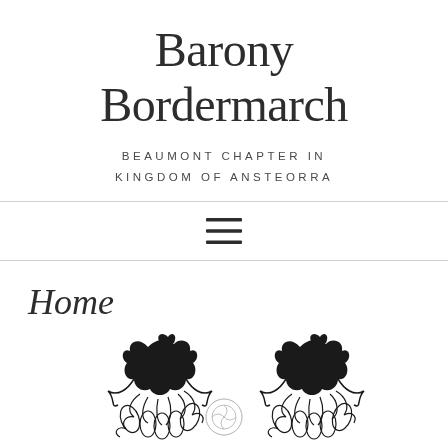Barony Bordermarch
BEAUMONT CHAPTER IN KINGDOM OF ANSTEORRA
[Figure (illustration): Hamburger menu icon — three horizontal parallel lines]
Home
[Figure (illustration): Two heraldic bird/phoenix emblems with floral/leaf decorative elements, black silhouette style on white background, with a small decorative circular motif between them]